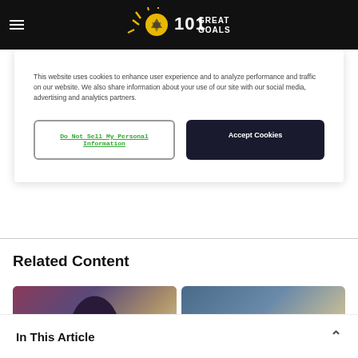101 Great Goals
This website uses cookies to enhance user experience and to analyze performance and traffic on our website. We also share information about your use of our site with our social media, advertising and analytics partners.
Do Not Sell My Personal Information
Accept Cookies
Related Content
[Figure (photo): Soccer player celebrating in maroon/claret shirt]
[Figure (photo): Blonde soccer player]
In This Article